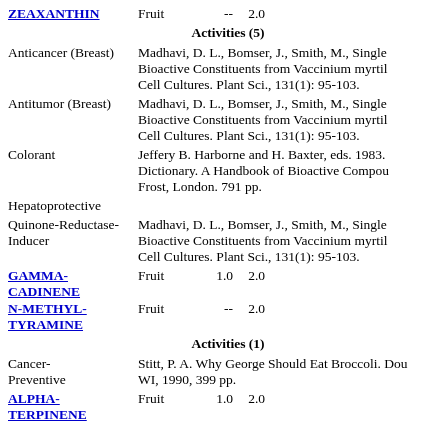ZEAXANTHIN   Fruit   --   2.0
Activities (5)
Anticancer (Breast)   Madhavi, D. L., Bomser, J., Smith, M., Single Bioactive Constituents from Vaccinium myrtil Cell Cultures. Plant Sci., 131(1): 95-103.
Antitumor (Breast)   Madhavi, D. L., Bomser, J., Smith, M., Single Bioactive Constituents from Vaccinium myrtil Cell Cultures. Plant Sci., 131(1): 95-103.
Colorant   Jeffery B. Harborne and H. Baxter, eds. 1983. Dictionary. A Handbook of Bioactive Compou Frost, London. 791 pp.
Hepatoprotective
Quinone-Reductase-Inducer   Madhavi, D. L., Bomser, J., Smith, M., Single Bioactive Constituents from Vaccinium myrtil Cell Cultures. Plant Sci., 131(1): 95-103.
GAMMA-CADINENE   Fruit   1.0   2.0
N-METHYL-TYRAMINE   Fruit   --   2.0
Activities (1)
Cancer-Preventive   Stitt, P. A. Why George Should Eat Broccoli. Dou WI, 1990, 399 pp.
ALPHA-TERPINENE   Fruit   1.0   2.0